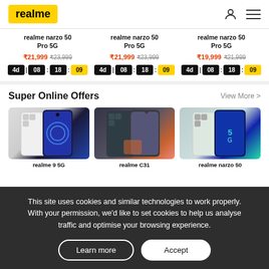realme
realme narzo 50 Pro 5G | ₹21,999 ₹23,999 | 4d 08 : 18 : 09  | realme narzo 50 Pro 5G | ₹21,999 ₹23,999 | 4d 08 : 18 : 09 | realme narzo 50 Pro 5G | ₹19,999 ₹21,999 | 4d 08 : 18 : 09
Super Online Offers
View More >
[Figure (photo): Three realme smartphones shown side by side — realme 9 5G, realme C31, realme narzo 50]
realme 9 5G    realme C31    realme narzo 50
This site uses cookies and similar technologies to work properly. With your permission, we'd like to set cookies to help us analyse traffic and optimise your browsing experience.
Learn more   Accept